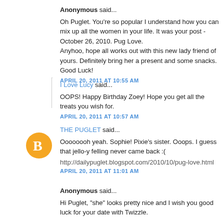Anonymous said...
Oh Puglet. You're so popular I understand how you can mix up all the women in your life. It was your post - October 26, 2010. Pug Love. Anyhoo, hope all works out with this new lady friend of yours. Definitely bring her a present and some snacks. Good Luck!
APRIL 20, 2011 AT 10:55 AM
I Love Lucy said...
OOPS! Happy Birthday Zoey! Hope you get all the treats you wish for.
APRIL 20, 2011 AT 10:57 AM
THE PUGLET said...
Oooooooh yeah. Sophie! Pixie's sister. Ooops. I guess that jello-y felling never came back :(
http://dailypuglet.blogspot.com/2010/10/pug-love.html
APRIL 20, 2011 AT 11:01 AM
Anonymous said...
Hi Puglet, "she" looks pretty nice and I wish you good luck for your date with Twizzle.